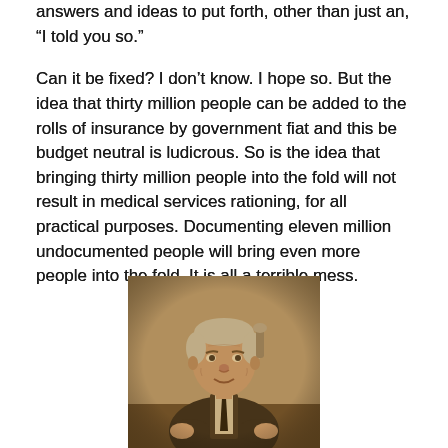answers and ideas to put forth, other than just an, "I told you so."
Can it be fixed? I don’t know. I hope so. But the idea that thirty million people can be added to the rolls of insurance by government fiat and this be budget neutral is ludicrous. So is the idea that bringing thirty million people into the fold will not result in medical services rationing, for all practical purposes. Documenting eleven million undocumented people will bring even more people into the fold. It is all a terrible mess.
[Figure (photo): Sepia-toned vintage photograph of an older man in a vest and tie, seated at a desk, facing forward with a slight smile.]